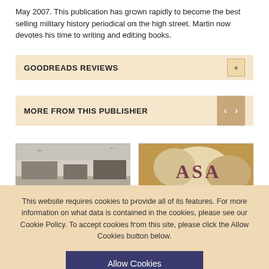May 2007. This publication has grown rapidly to become the best selling military history periodical on the high street. Martin now devotes his time to writing and editing books.
GOODREADS REVIEWS
MORE FROM THIS PUBLISHER
[Figure (photo): Black and white historical photo of what appears to be a military airfield or naval scene]
[Figure (photo): Photo of embossed or engraved letters 'ASA' on a textured surface]
This website requires cookies to provide all of its features. For more information on what data is contained in the cookies, please see our Cookie Policy. To accept cookies from this site, please click the Allow Cookies button below.